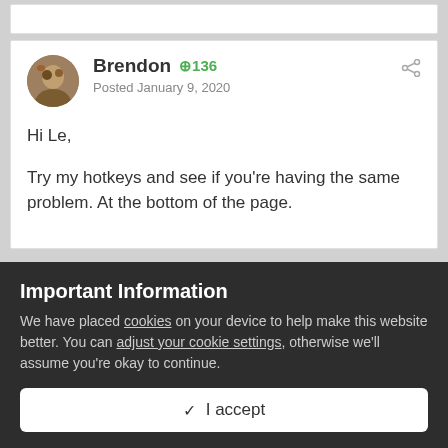Brendon  +136
Posted January 9, 2020
Hi Le,

Try my hotkeys and see if you're having the same problem. At the bottom of the page.
Important Information
We have placed cookies on your device to help make this website better. You can adjust your cookie settings, otherwise we'll assume you're okay to continue.
✓  I accept